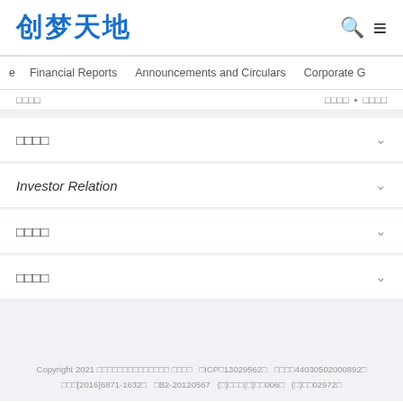创梦天地
Financial Reports   Announcements and Circulars   Corporate G
□□□□   □□□□ • □□□□
□□□□
Investor Relation
□□□□
□□□□
Copyright 2021 □□□□□□□□□□□□□□ □□□□   □ICP□13029562□   □□□□44030502000892□   □□□[2016]6871-1632□   □B2-20120567   (□)□□□(□)□□006□   (□)□□02972□